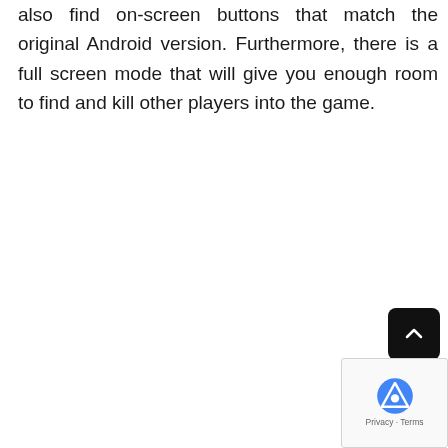also find on-screen buttons that match the original Android version. Furthermore, there is a full screen mode that will give you enough room to find and kill other players into the game.
[Figure (screenshot): Scroll-to-top button (dark rounded rectangle with upward caret) and reCAPTCHA widget with Privacy and Terms links in bottom-right corner]